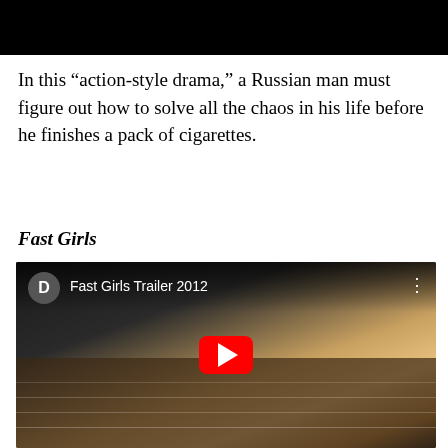[Figure (screenshot): Black rectangle at top of page, representing a video or image placeholder]
In this “action-style drama,” a Russian man must figure out how to solve all the chaos in his life before he finishes a pack of cigarettes.
Fast Girls
[Figure (screenshot): YouTube video embed showing 'Fast Girls Trailer 2012' with a running track scene, YouTube play button overlay, and a 'D' avatar icon in the top left corner]